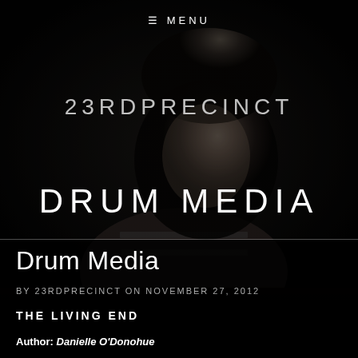[Figure (photo): Black and white portrait photo of a young man with tousled hair, looking intensely at the camera, wearing a striped shirt, in dramatic low-key lighting]
≡ MENU
23RDPRECINCT
DRUM MEDIA
Drum Media
BY 23RDPRECINCT ON NOVEMBER 27, 2012
THE LIVING END
Author: Danielle O'Donohue